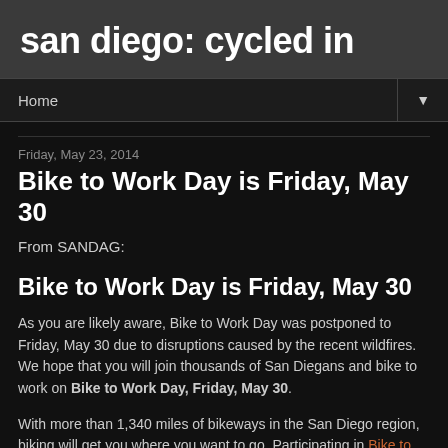san diego: cycled in
Home
Friday, May 23, 2014
Bike to Work Day is Friday, May 30
From SANDAG:
Bike to Work Day is Friday, May 30
As you are likely aware, Bike to Work Day was postponed to Friday, May 30 due to disruptions caused by the recent wildfires. We hope that you will join thousands of San Diegans and bike to work on Bike to Work Day, Friday, May 30.
With more than 1,340 miles of bikeways in the San Diego region, biking will get you where you want to go. Participating in Bike to Work 2014 is a great way to save money,